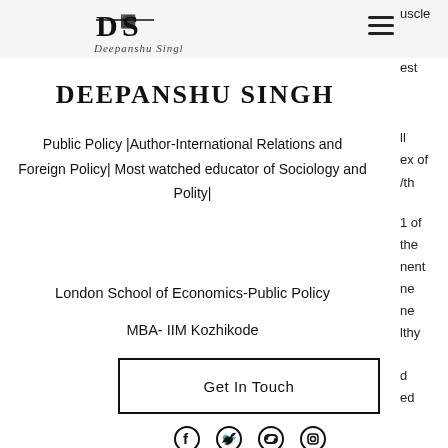[Figure (logo): DS Deepanshu Singh logo with stylized initials and signature]
DEEPANSHU SINGH
Public Policy |Author-International Relations and Foreign Policy| Most watched educator of Sociology and Polity|
London School of Economics-Public Policy
MBA- IIM Kozhikode
Get In Touch
[Figure (illustration): Social media icons: Facebook, Twitter, Link/Chain, Instagram]